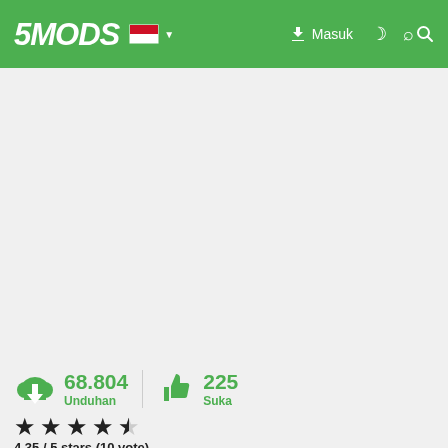5MODS — Masuk
68.804 Unduhan
225 Suka
4.35 / 5 stars (10 vote)
2017 NISSAN GT-R R35
Convert to GTA 5 :GX_LOVER
Screenshot by [ID-72] MAX MAYHEM